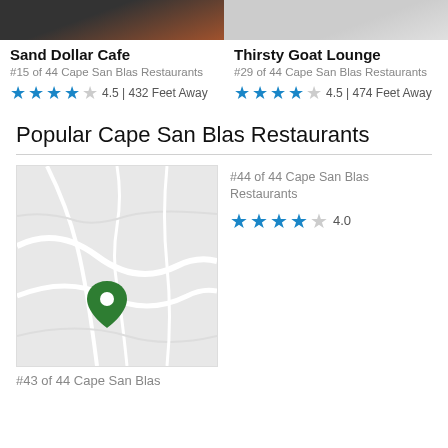[Figure (photo): Cropped food photo top-left card]
[Figure (photo): Cropped map/light image top-right card]
Sand Dollar Cafe
#15 of 44 Cape San Blas Restaurants
4.5 | 432 Feet Away
Thirsty Goat Lounge
#29 of 44 Cape San Blas Restaurants
4.5 | 474 Feet Away
Popular Cape San Blas Restaurants
[Figure (map): Map thumbnail showing Cape San Blas area with green location pin]
#44 of 44 Cape San Blas Restaurants
4.0
#43 of 44 Cape San Blas